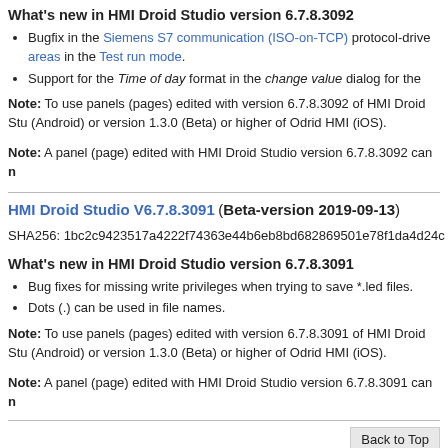What's new in HMI Droid Studio version 6.7.8.3092
Bugfix in the Siemens S7 communication (ISO-on-TCP) protocol-drive areas in the Test run mode.
Support for the Time of day format in the change value dialog for the
Note: To use panels (pages) edited with version 6.7.8.3092 of HMI Droid Studio (Android) or version 1.3.0 (Beta) or higher of Odrid HMI (iOS).
Note: A panel (page) edited with HMI Droid Studio version 6.7.8.3092 can no
HMI Droid Studio V6.7.8.3091 (Beta-version 2019-09-13)
SHA256: 1bc2c9423517a4222f74363e44b6eb8bd682869501e78f1da4d24c
What's new in HMI Droid Studio version 6.7.8.3091
Bug fixes for missing write privileges when trying to save *.led files.
Dots (.) can be used in file names.
Note: To use panels (pages) edited with version 6.7.8.3091 of HMI Droid Studio (Android) or version 1.3.0 (Beta) or higher of Odrid HMI (iOS).
Note: A panel (page) edited with HMI Droid Studio version 6.7.8.3091 can no
HMI Droid Studio V6.7.8.3090 (Beta-version 2019-06-12)